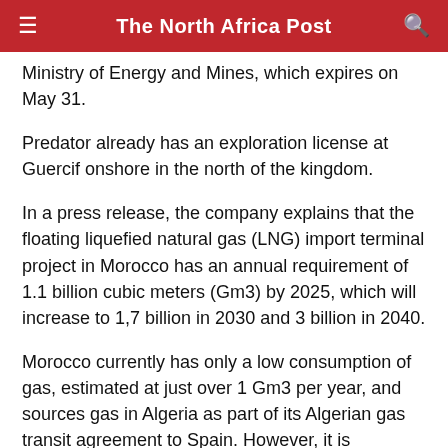The North Africa Post
Ministry of Energy and Mines, which expires on May 31.
Predator already has an exploration license at Guercif onshore in the north of the kingdom.
In a press release, the company explains that the floating liquefied natural gas (LNG) import terminal project in Morocco has an annual requirement of 1.1 billion cubic meters (Gm3) by 2025, which will increase to 1,7 billion in 2030 and 3 billion in 2040.
Morocco currently has only a low consumption of gas, estimated at just over 1 Gm3 per year, and sources gas in Algeria as part of its Algerian gas transit agreement to Spain. However, it is increasingly turning to gas and renewables to reduce its production of coal-fired